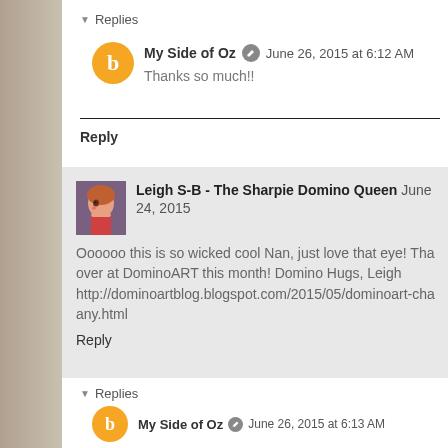Replies
My Side of Oz  June 26, 2015 at 6:12 AM
Thanks so much!!
Reply
Leigh S-B - The Sharpie Domino Queen  June 24, 2015
Oooooo this is so wicked cool Nan, just love that eye! That over at DominoART this month! Domino Hugs, Leigh http://dominoartblog.blogspot.com/2015/05/dominoart-chab any.html
Reply
Replies
My Side of Oz  June 26, 2015 at 6:13 AM
Thanks Leigh! Love to play at DominoArt! Hugs did I not link back to DominoArt?! I just though blogger to add the link!! Hugsxx